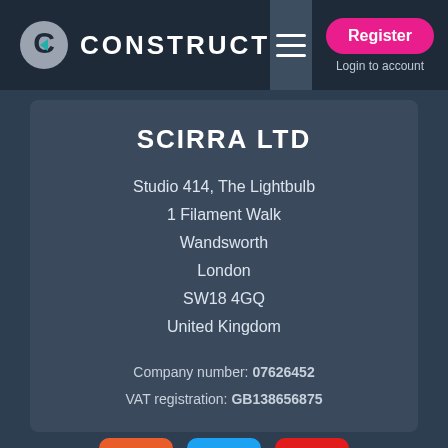CONSTRUCT — Register | Login to account
SCIRRA LTD
Studio 414, The Lightbulb
1 Filament Walk
Wandsworth
London
SW18 4GQ
United Kingdom
Company number: 07626452
VAT registration: GB138656875
[Figure (logo): Reddit, Twitter, and YouTube social media icon buttons]